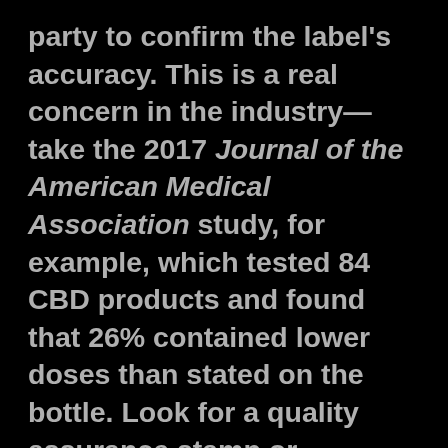party to confirm the label's accuracy. This is a real concern in the industry—take the 2017 Journal of the American Medical Association study, for example, which tested 84 CBD products and found that 26% contained lower doses than stated on the bottle. Look for a quality assurance stamp or certificate of analysis from a third party (aka not the actual brand) or check the retailer's website if you don't see it on the product's label.